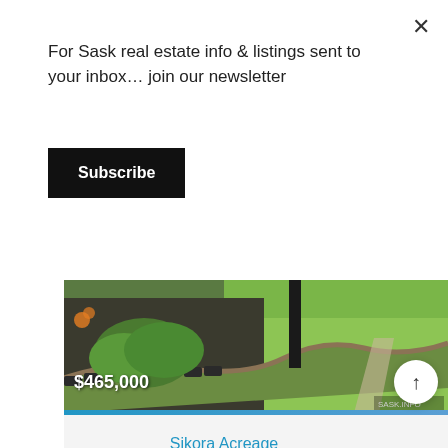For Sask real estate info & listings sent to your inbox… join our newsletter
Subscribe
[Figure (photo): Outdoor landscaping photo showing garden beds with shrubs and green lawn, price overlay $465,000]
Sikora Acreage
Fertile Belt Rm No. 183, Saskatchewan
5 Bedroom
3 Bathroom
1334 sqft